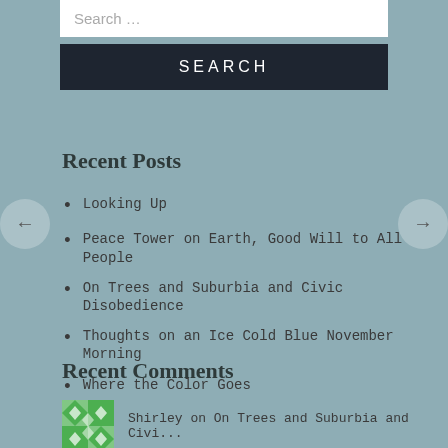Search …
SEARCH
Recent Posts
Looking Up
Peace Tower on Earth, Good Will to All People
On Trees and Suburbia and Civic Disobedience
Thoughts on an Ice Cold Blue November Morning
Where the Color Goes
Recent Comments
Shirley on On Trees and Suburbia and Civi...